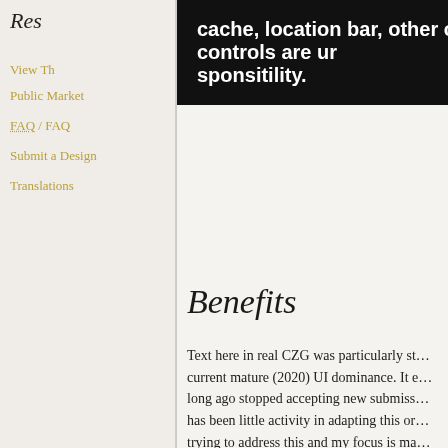Res…
cache, location bar, other client controls are ur
sponsitility.
View Th…
Public Market
FAQ / FAQ
Submit a Design
Translations
v) CZG stuff … is used to acco… use of CZG was headed to being like that… a drupal theme of one but it eventually se… page of the mediawiki CMS.
Benefits
Text here in real CZG was particularly st… current mature (2020) UI dominance. It e… long ago stopped accepting new submiss… has been little activity in adapting this or… trying to address this and my focus is ma… templating codes have.
Requirements
The CZG would like to see as much CSS… supported elements only. The css Zen Ga… latest bleeding-edge tricks viewable by 2… we have is that your CSS validates…